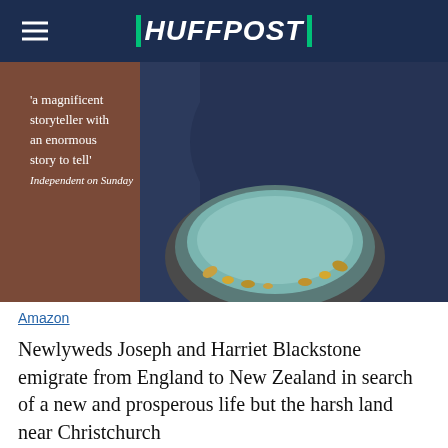HUFFPOST
[Figure (photo): Book cover image showing a person in dark blue clothing holding a pan with teal-colored sediment and gold nuggets. Text on image reads: 'a magnificent storyteller with an enormous story to tell' Independent on Sunday]
Amazon
Newlyweds Joseph and Harriet Blackstone emigrate from England to New Zealand in search of a new and prosperous life but the harsh land near Christchurch